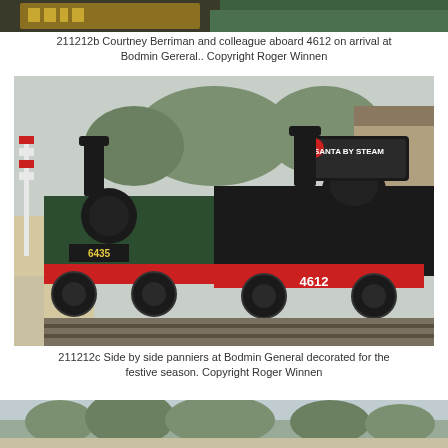[Figure (photo): Partial view of a locomotive nameplate/number in gold and green, cropped at top of page]
211212b Courtney Berriman and colleague aboard 4612 on arrival at Bodmin Gereral.. Copyright Roger Winnen
[Figure (photo): Two GWR pannier tank locomotives side by side at Bodmin General station decorated for the festive season. The nearer locomotive is numbered 4612 with a Santa by Steam headboard, the other is 6435. Christmas decorations visible on the platform.]
211212c Side by side panniers at Bodmin General decorated for the festive season. Copyright Roger Winnen
[Figure (photo): Partial view of a steam locomotive at a station platform, trees visible in background, cropped at bottom of page]